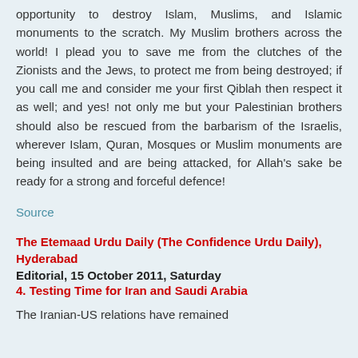opportunity to destroy Islam, Muslims, and Islamic monuments to the scratch. My Muslim brothers across the world! I plead you to save me from the clutches of the Zionists and the Jews, to protect me from being destroyed; if you call me and consider me your first Qiblah then respect it as well; and yes! not only me but your Palestinian brothers should also be rescued from the barbarism of the Israelis, wherever Islam, Quran, Mosques or Muslim monuments are being insulted and are being attacked, for Allah's sake be ready for a strong and forceful defence!
Source
The Etemaad Urdu Daily (The Confidence Urdu Daily), Hyderabad
Editorial, 15 October 2011, Saturday
4. Testing Time for Iran and Saudi Arabia
The Iranian-US relations have remained